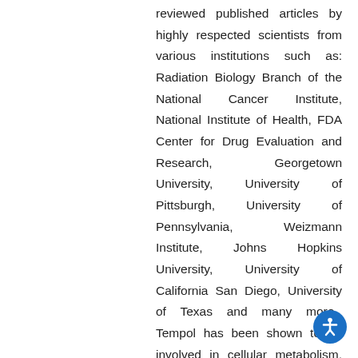reviewed published articles by highly respected scientists from various institutions such as: Radiation Biology Branch of the National Cancer Institute, National Institute of Health, FDA Center for Drug Evaluation and Research, Georgetown University, University of Pittsburgh, University of Pennsylvania, Weizmann Institute, Johns Hopkins University, University of California San Diego, University of Texas and many more.  Tempol has been shown to be involved in cellular metabolism, apoptosis, (form of programmed cell death or cellular suicide), cell growth and development, stress response, inflammation, and angiogenesis.  Its role in decreasing multiple pro-inflammatory cytokines and controlling both the overactive inflammatory response and the cytokine storm could lead to one treatment strategy that helps decrease the burden to our health care system by reducing hospitalizations and potentially saving the